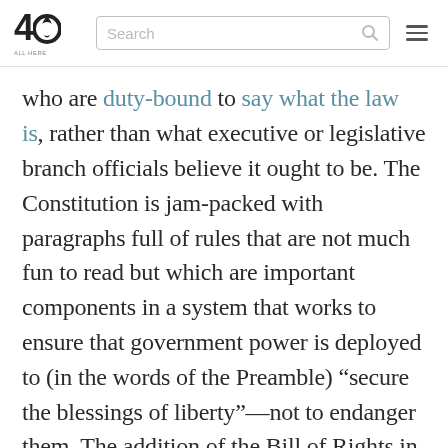40 [logo] Search [search bar] [hamburger menu]
who are duty-bound to say what the law is, rather than what executive or legislative branch officials believe it ought to be. The Constitution is jam-packed with paragraphs full of rules that are not much fun to read but which are important components in a system that works to ensure that government power is deployed to (in the words of the Preamble) “secure the blessings of liberty”—not to endanger them. The addition of the Bill of Rights in 1789 affirms the Constitution’s distinctly libertarian character by specifically